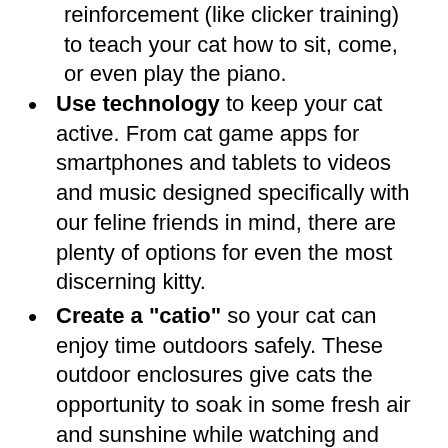reinforcement (like clicker training) to teach your cat how to sit, come, or even play the piano.
Use technology to keep your cat active. From cat game apps for smartphones and tablets to videos and music designed specifically with our feline friends in mind, there are plenty of options for even the most discerning kitty.
Create a “catio” so your cat can enjoy time outdoors safely. These outdoor enclosures give cats the opportunity to soak in some fresh air and sunshine while watching and hearing the outside world around them. You can even incorporate other sources of enrichment, like a cat tree. There are many ways to build a catio—conducting an online search will provide ideas.